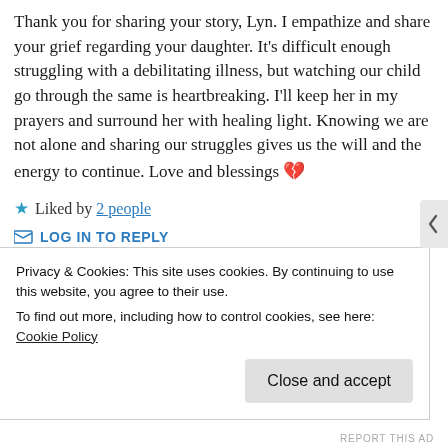Thank you for sharing your story, Lyn. I empathize and share your grief regarding your daughter. It's difficult enough struggling with a debilitating illness, but watching our child go through the same is heartbreaking. I'll keep her in my prayers and surround her with healing light. Knowing we are not alone and sharing our struggles gives us the will and the energy to continue. Love and blessings 💔
★ Liked by 2 people
LOG IN TO REPLY
Privacy & Cookies: This site uses cookies. By continuing to use this website, you agree to their use.
To find out more, including how to control cookies, see here: Cookie Policy
Close and accept